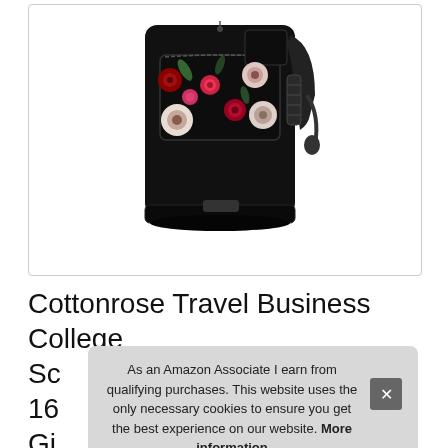[Figure (photo): Black floral backpack (Cottonrose brand) with red and white flower print, multiple compartments, mesh side pockets, and luggage strap, displayed against white background]
Cottonrose Travel Business College Sc 16 Gi Casual Daypack Bag with Lugg...
As an Amazon Associate I earn from qualifying purchases. This website uses the only necessary cookies to ensure you get the best experience on our website. More information